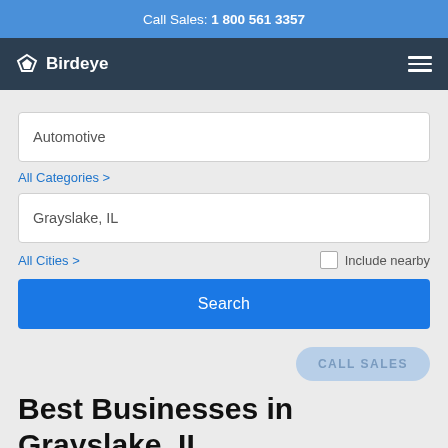Call Sales: 1 800 561 3357
Birdeye
Automotive
All Categories >
Grayslake, IL
All Cities >
Include nearby
Search
CALL SALES
Best Businesses in Grayslake, IL